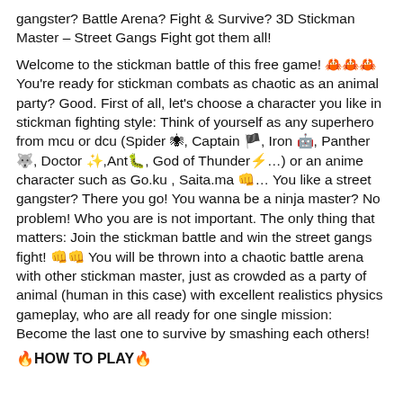gangster? Battle Arena? Fight & Survive? 3D Stickman Master – Street Gangs Fight got them all!
Welcome to the stickman battle of this free game! 🦀🦀🦀 You're ready for stickman combats as chaotic as an animal party? Good. First of all, let's choose a character you like in stickman fighting style: Think of yourself as any superhero from mcu or dcu (Spider 🕷, Captain 🏴, Iron 🤖, Panther 🐺, Doctor ✨,Ant🐛, God of Thunder⚡…) or an anime character such as Go.ku , Saita.ma 👊… You like a street gangster? There you go! You wanna be a ninja master? No problem! Who you are is not important. The only thing that matters: Join the stickman battle and win the street gangs fight! 👊👊 You will be thrown into a chaotic battle arena with other stickman master, just as crowded as a party of animal (human in this case) with excellent realistics physics gameplay, who are all ready for one single mission: Become the last one to survive by smashing each others!
🔥HOW TO PLAY🔥